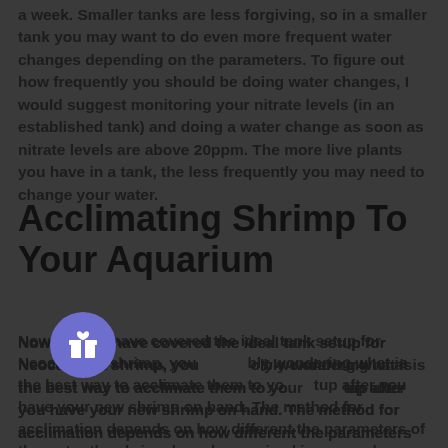a week. Smaller tanks are less forgiving, so in a smaller tank you may want to do even more frequent water changes depending on the parameters. To figure out how frequently you should be doing water changes, I would suggest monitoring your nitrate levels (in an established tank) and doing a water change as soon as nitrate levels are above 20ppm. The more live plants you have in a tank, the less frequently you may need to change your water.
Acclimating Shrimp To Your Aquarium
Now that we have covered the ideal tank setup for Neocaridina shrimp, you are probably wondering what is the best way to acclimate them to your new setup after you have your new shrimp on hand. The method for acclimation depends on how different the parameters of the water the shrimp have been raised in are, and whether or not to shrimp are
[Figure (other): A circular purple/blue button with a white gift box icon]